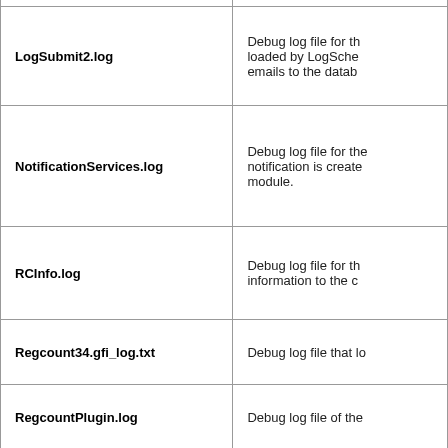| File | Description |
| --- | --- |
| LogSubmit2.log | Debug log file for th... loaded by LogSche... emails to the datab... |
| NotificationServices.log | Debug log file for the... notification is create... module. |
| RCInfo.log | Debug log file for the... information to the co... |
| Regcount34.gfi_log.txt | Debug log file that lo... |
| RegcountPlugin.log | Debug log file of the... |
| RemotingPlugin.log | Debug log file for th... initiates the Remotin... |
| SMTPSend.log | Debug log file for the... sends any em... fo... |